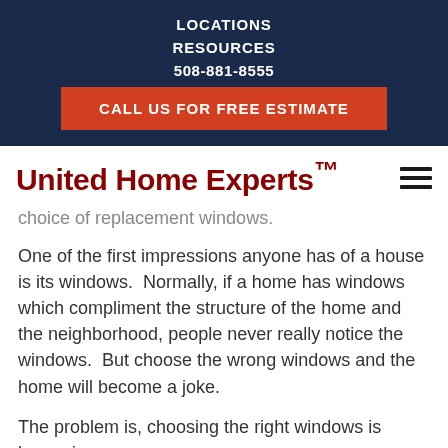LOCATIONS
RESOURCES
508-881-8555
CALL US FOR FREE ESTIMATE
United Home Experts™
choice of replacement windows.
One of the first impressions anyone has of a house is its windows.  Normally, if a home has windows which compliment the structure of the home and the neighborhood, people never really notice the windows.  But choose the wrong windows and the home will become a joke.
The problem is, choosing the right windows is becoming